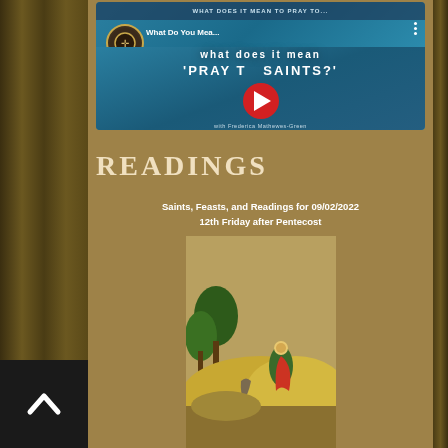[Figure (screenshot): YouTube video thumbnail for 'What Do You Mea...' video about 'Pray to Saints?' with Frederica Mathewes-Green, showing red YouTube play button on a blue background with Orthodox Christian cross channel icon]
READINGS
Saints, Feasts, and Readings for 09/02/2022
12th Friday after Pentecost
[Figure (illustration): Orthodox Christian icon depicting a religious scene with a figure in green and red robes, trees, and a golden landscape]
[Figure (other): Back-to-top navigation button (black square with white upward chevron arrow)]